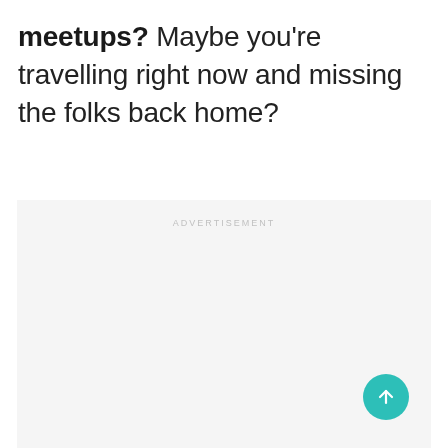meetups? Maybe you're travelling right now and missing the folks back home?
[Figure (other): Advertisement placeholder box with light gray background and 'ADVERTISEMENT' label text centered at top. A teal circular scroll-to-top button with an upward arrow is overlaid in the bottom-right corner.]